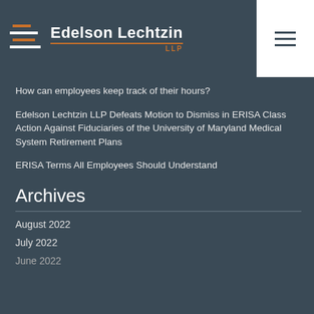Edelson Lechtzin LLP
How can employees keep track of their hours?
Edelson Lechtzin LLP Defeats Motion to Dismiss in ERISA Class Action Against Fiduciaries of the University of Maryland Medical System Retirement Plans
ERISA Terms All Employees Should Understand
Archives
August 2022
July 2022
June 2022